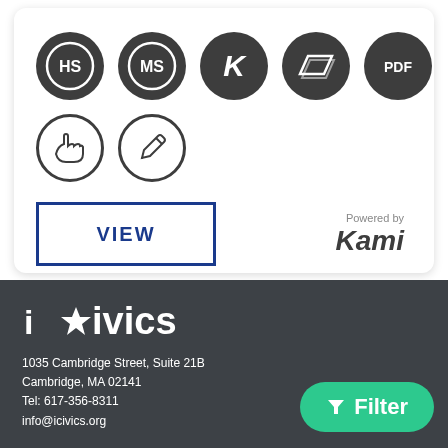[Figure (infographic): Row of 5 dark circular icon badges: HS, MS, K, parallelogram/skew shape, PDF. Second row of 2 outline circular icons: hand gesture, pencil/edit.]
[Figure (logo): VIEW button with blue border, and 'Powered by Kami' logo in dark bold italic text]
[Figure (logo): iCivics logo in white bold text on dark background with star icon replacing letter i]
1035 Cambridge Street, Suite 21B
Cambridge, MA 02141
Tel: 617-356-8311
info@icivics.org
[Figure (infographic): Green rounded Filter button with funnel icon]